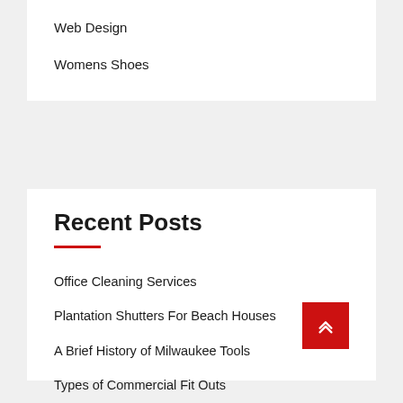Web Design
Womens Shoes
Recent Posts
Office Cleaning Services
Plantation Shutters For Beach Houses
A Brief History of Milwaukee Tools
Types of Commercial Fit Outs
Advantages of Security Doors